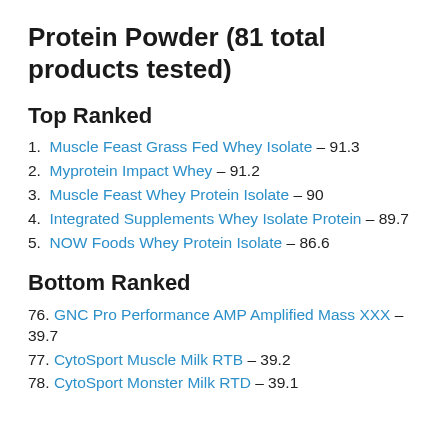Protein Powder (81 total products tested)
Top Ranked
1. Muscle Feast Grass Fed Whey Isolate – 91.3
2. Myprotein Impact Whey – 91.2
3. Muscle Feast Whey Protein Isolate – 90
4. Integrated Supplements Whey Isolate Protein – 89.7
5. NOW Foods Whey Protein Isolate – 86.6
Bottom Ranked
76. GNC Pro Performance AMP Amplified Mass XXX – 39.7
77. CytoSport Muscle Milk RTB – 39.2
78. CytoSport Monster Milk RTD – 39.1